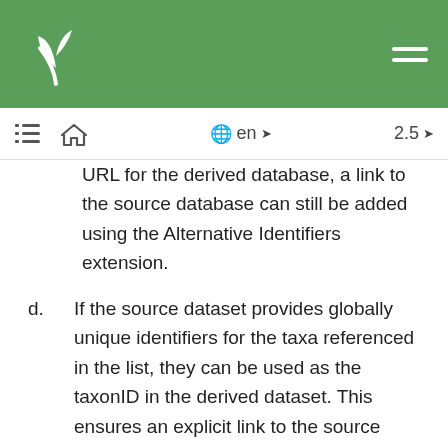URL for the derived database, a link to the source database can still be added using the Alternative Identifiers extension.
d. If the source dataset provides globally unique identifiers for the taxa referenced in the list, they can be used as the taxonID in the derived dataset. This ensures an explicit link to the source taxon and is highly recommended if available.
e. Use the dwc:nameAccordingTo or dwc:nameAccordingToID to refer to the taxon